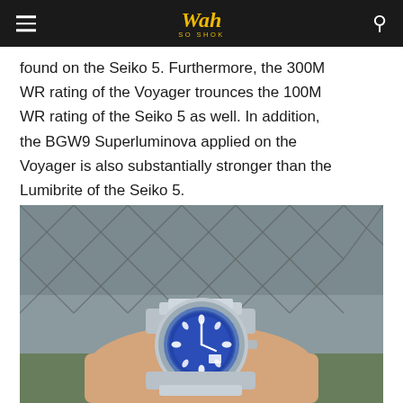Wah So Shok
found on the Seiko 5. Furthermore, the 300M WR rating of the Voyager trounces the 100M WR rating of the Seiko 5 as well. In addition, the BGW9 Superluminova applied on the Voyager is also substantially stronger than the Lumibrite of the Seiko 5.
[Figure (photo): A wrist wearing a blue dial dive watch with a stainless steel bezel and bracelet, held against a diamond-pattern wire fence background with green foliage visible below.]